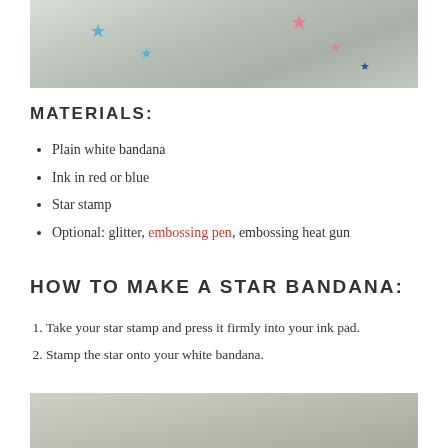[Figure (photo): Photo of white bandanas/handkerchiefs with blue and pink star stamps on them, folded and stacked.]
MATERIALS:
Plain white bandana
Ink in red or blue
Star stamp
Optional: glitter, embossing pen, embossing heat gun
HOW TO MAKE A STAR BANDANA:
Take your star stamp and press it firmly into your ink pad.
Stamp the star onto your white bandana.
[Figure (photo): Partial photo at bottom of page showing white fabric/bandana.]